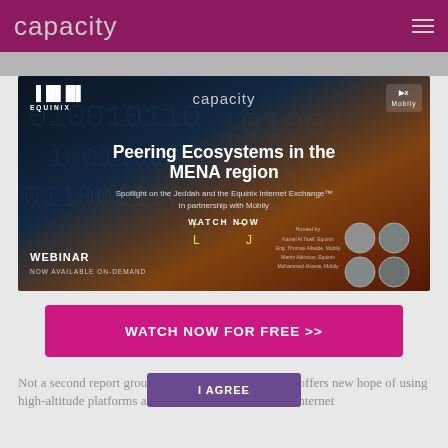capacity
[Figure (screenshot): Webinar advertisement banner for 'Peering Ecosystems in the MENA region' featuring Equinix, Capacity, and Mobily logos. Shows title text, subtitle about Jeddah and Equinix Internet Exchange in partnership with Mobily, a WATCH NOW call-to-action with yellow bracket decorations, four speaker headshots, hosted-by credits, and WEBINAR / NOW AVAILABLE ON-DEMAND text.]
WATCH NOW FOR FREE >>
Not a second report group set up by the Commission, offers new hope of using high-altitude platforms as well as satellites to extend internet
I AGREE